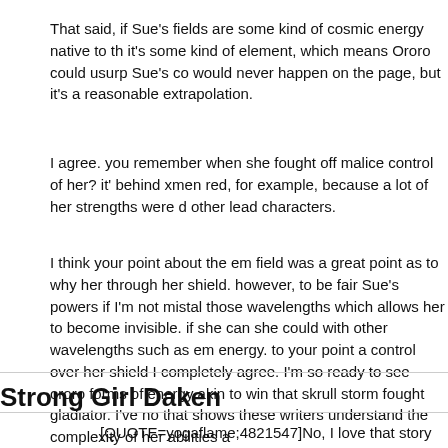That said, if Sue's fields are some kind of cosmic energy native to the negative zone, it's some kind of element, which means Ororo could usurp Sue's control. This would never happen on the page, but it's a reasonable extrapolation.
I agree. you remember when she fought off malice control of her? it's what I love behind xmen red, for example, because a lot of her strengths were downplayed by other lead characters.
I think your point about the em field was a great point as to why her lightning got through her shield. however, to be fair Sue's powers if I'm not mistaken bend/control those wavelengths which allows her to become invisible. if she can do that, perhaps she could with other wavelengths such as em energy. to your point about her having control over her shield I completely agree. I'm so ready to see ororo channel other forms of energy akin to win that skrull storm fought gladiator. I've not seen an arc that shows these writers understand the complexity of her abilities a
Strong Girl Daken
[QUOTE=yogaflame;4821547]No, I love that story as it was and Oro there, but the details are the details. Maybe given more time(to build might have escaped herself(and perhaps fully evolved into her elem the season for that yet...[/QUOTE]
I got the sense she would have destroyed everything on Earth lol.